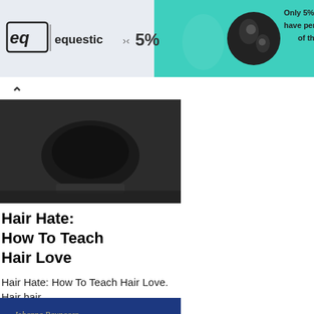[Figure (infographic): Advertisement banner for Equestic with logo showing 'eq | equestic', '5%' with arrows, earbuds product image, and text 'Only 5% of all trainings have perfect symmetry of the horse' on teal/mint background]
[Figure (photo): Dark product photo, appears to be a black object or device on a surface]
Hair Hate:
How To Teach
Hair Love
Hair Hate: How To Teach Hair Love. Hair hair
[Figure (photo): Book cover showing 'The Power of Timing' by Johanna Paungger and Thomas Poppe, with dark blue background and golden text]